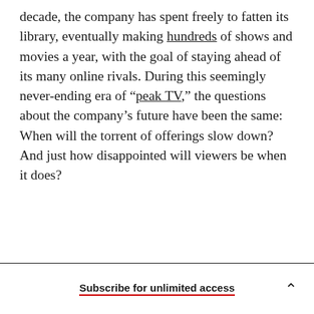decade, the company has spent freely to fatten its library, eventually making hundreds of shows and movies a year, with the goal of staying ahead of its many online rivals. During this seemingly never-ending era of “peak TV,” the questions about the company’s future have been the same: When will the torrent of offerings slow down? And just how disappointed will viewers be when it does?
Subscribe for unlimited access